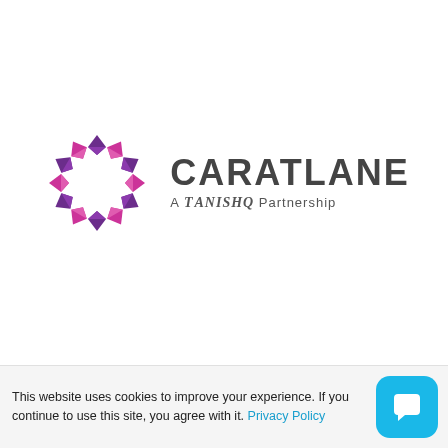[Figure (logo): CaratLane logo: a circular arrangement of purple and pink diamond/gem shapes forming a ring, next to the text 'CARATLANE' in large dark grey sans-serif, and below that 'A TANISHQ Partnership' in smaller text with Tanishq in a stylized font.]
This website uses cookies to improve your experience. If you continue to use this site, you agree with it. Privacy Policy